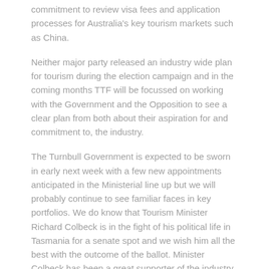commitment to review visa fees and application processes for Australia's key tourism markets such as China.
Neither major party released an industry wide plan for tourism during the election campaign and in the coming months TTF will be focussed on working with the Government and the Opposition to see a clear plan from both about their aspiration for and commitment to, the industry.
The Turnbull Government is expected to be sworn in early next week with a few new appointments anticipated in the Ministerial line up but we will probably continue to see familiar faces in key portfolios. We do know that Tourism Minister Richard Colbeck is in the fight of his political life in Tasmania for a senate spot and we wish him all the best with the outcome of the ballot. Minister Colbeck has been a great supporter of the industry and it would be a disappointment to see him leave public life.
Opposition Leader Bill Shorten is also expected to announce some changes to his frontbench as both sides prepare to confront each other for the first session of the new Parliament in early August.